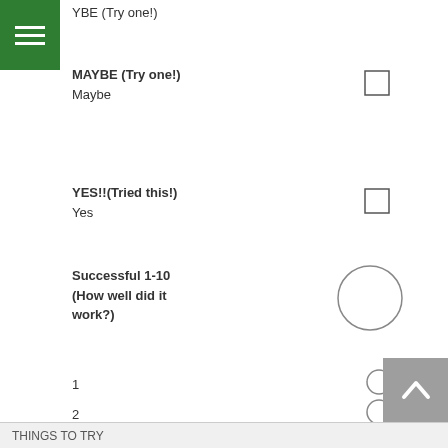YBE (Try one!)
MAYBE (Try one!)
Maybe
YES!!(Tried this!)
Yes
Successful 1-10 (How well did it work?)
1
2
3
4
5
6
7
8
9
10
THINGS TO TRY